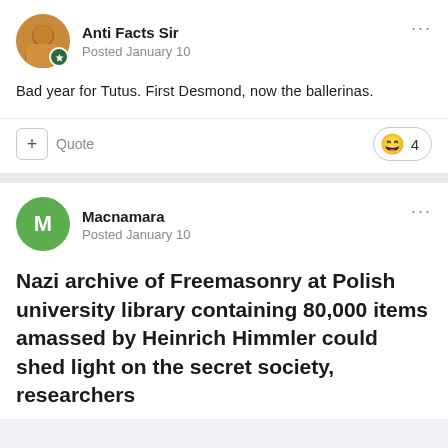Anti Facts Sir
Posted January 10
Bad year for Tutus. First Desmond, now the ballerinas.
Quote
4
Macnamara
Posted January 10
Nazi archive of Freemasonry at Polish university library containing 80,000 items amassed by Heinrich Himmler could shed light on the secret society, researchers